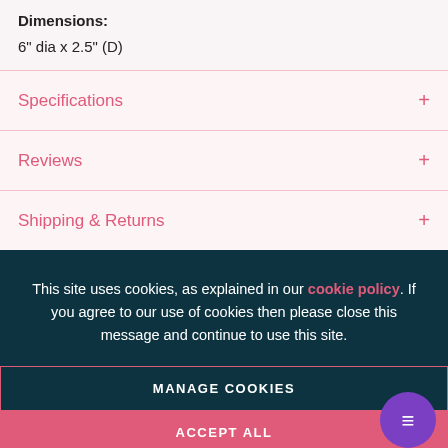Dimensions:
6" dia x 2.5" (D)
Specifications +
Reviews +
Shipping & Returns +
This site uses cookies, as explained in our cookie policy. If you agree to our use of cookies then please close this message and continue to use this site.
MANAGE COOKIES
ACCEPT ALL